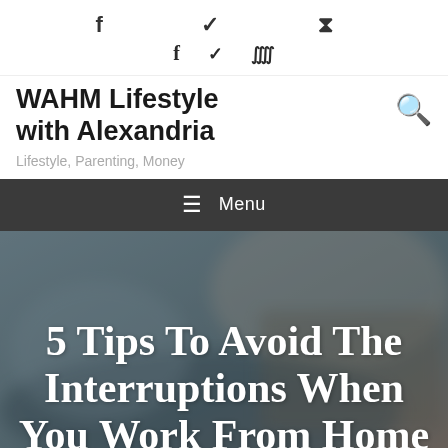f  ✦  ❧  ⊕
WAHM Lifestyle with Alexandria
Lifestyle, Parenting, Money
☰ Menu
[Figure (photo): Blurred background photo of a person working at a desk/laptop, in muted blue-grey tones]
5 Tips To Avoid The Interruptions When You Work From Home